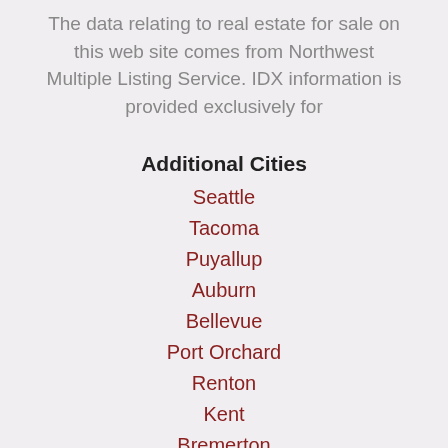The data relating to real estate for sale on this web site comes from Northwest Multiple Listing Service. IDX information is provided exclusively for
Additional Cities
Seattle
Tacoma
Puyallup
Auburn
Bellevue
Port Orchard
Renton
Kent
Bremerton
Gig Harbor